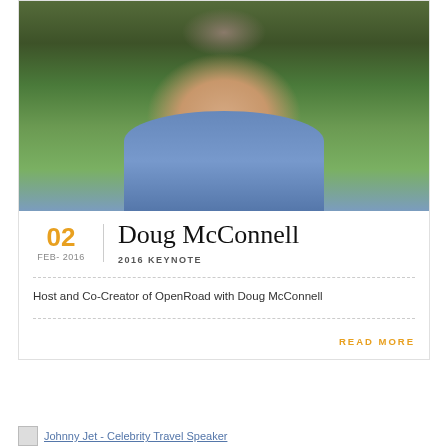[Figure (photo): Headshot photo of Doug McConnell smiling, wearing a blue button-down shirt, outdoors with green foliage in background]
Doug McConnell
02 FEB- 2016
2016 KEYNOTE
Host and Co-Creator of OpenRoad with Doug McConnell
READ MORE
Johnny Jet - Celebrity Travel Speaker